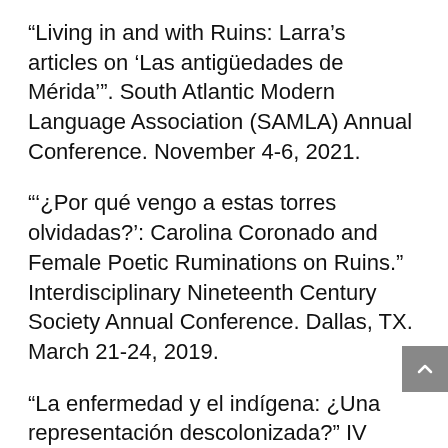“Living in and with Ruins: Larra’s articles on ‘Las antigüedades de Mérida’”. South Atlantic Modern Language Association (SAMLA) Annual Conference. November 4-6, 2021.
“¿Por qué vengo a estas torres olvidadas?’: Carolina Coronado and Female Poetic Ruminations on Ruins.” Interdisciplinary Nineteenth Century Society Annual Conference. Dallas, TX. March 21-24, 2019.
“La enfermedad y el indígena: ¿Una representación descolonizada?” IV Congreso Internacional Historia, Literatura y Arte en el Cine en Español y Portugués. Salamanca, España. June 28-30, 2017.
“A Social Ill: Hysteria, Society and the